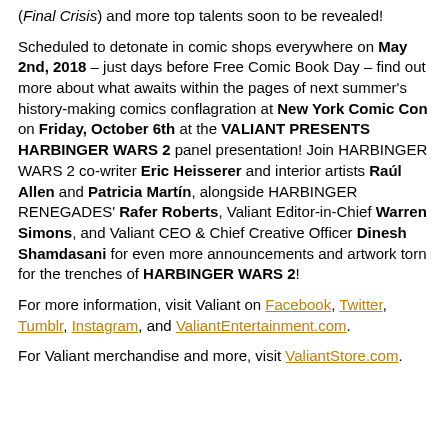(…) featuring covers by superstar artist J.G. Jones (Final Crisis) and more top talents soon to be revealed!
Scheduled to detonate in comic shops everywhere on May 2nd, 2018 – just days before Free Comic Book Day – find out more about what awaits within the pages of next summer's history-making comics conflagration at New York Comic Con on Friday, October 6th at the VALIANT PRESENTS HARBINGER WARS 2 panel presentation! Join HARBINGER WARS 2 co-writer Eric Heisserer and interior artists Raúl Allen and Patricia Martín, alongside HARBINGER RENEGADES' Rafer Roberts, Valiant Editor-in-Chief Warren Simons, and Valiant CEO & Chief Creative Officer Dinesh Shamdasani for even more announcements and artwork torn for the trenches of HARBINGER WARS 2!
For more information, visit Valiant on Facebook, Twitter, Tumblr, Instagram, and ValiantEntertainment.com.
For Valiant merchandise and more, visit ValiantStore.com.